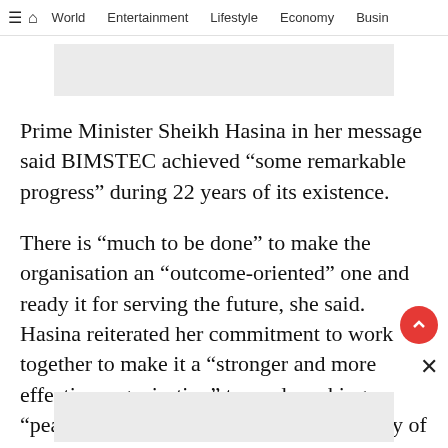≡ 🏠 World   Entertainment   Lifestyle   Economy   Busin
[Figure (other): Advertisement banner (gray rectangle)]
Prime Minister Sheikh Hasina in her message said BIMSTEC achieved “some remarkable progress” during 22 years of its existence.
There is “much to be done” to make the organisation an “outcome-oriented” one and ready it for serving the future, she said. Hasina reiterated her commitment to work together to make it a “stronger and more effective organisation” towards making a “peaceful, prosperous and sustainable” Bay of Bengal region.
[Figure (other): Advertisement banner at bottom (gray rectangle)]